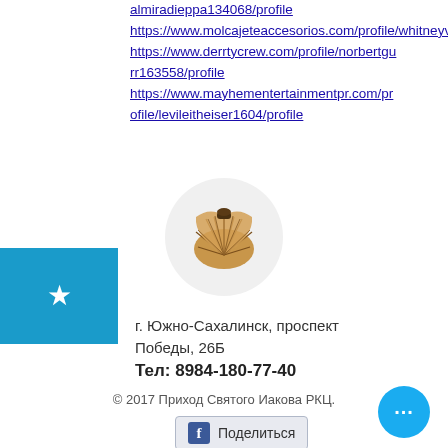almiradieppa134068/profile
https://www.molcajeteaccesorios.com/profile/whitneyvaghy123584/profile
https://www.derrtycrew.com/profile/norbertgurr163558/profile
https://www.mayhementertainmentpr.com/profile/levileitheiser1604/profile
[Figure (illustration): A scallop shell logo icon in golden/brown tones inside a light gray oval circle, serving as a website logo for Приход Святого Иакова РКЦ (Parish of Saint James RCC).]
г. Южно-Сахалинск, проспект Победы, 26Б
Тел: 8984-180-77-40
© 2017 Приход Святого Иакова РКЦ.
Поделиться